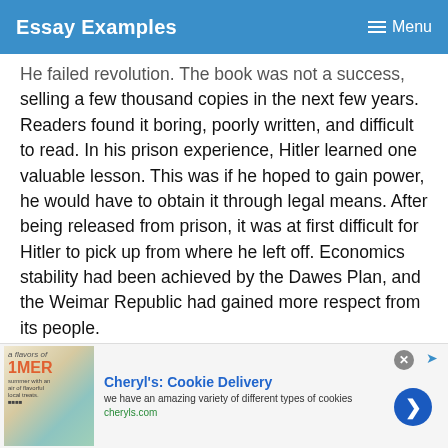Essay Examples  Menu
He failed revolution. The book was not a success, selling a few thousand copies in the next few years. Readers found it boring, poorly written, and difficult to read. In his prison experience, Hitler learned one valuable lesson. This was if he hoped to gain power, he would have to obtain it through legal means. After being released from prison, it was at first difficult for Hitler to pick up from where he left off. Economics stability had been achieved by the Dawes Plan, and the Weimar Republic had gained more respect from its people.
[Figure (other): Advertisement banner for Cheryl's Cookie Delivery showing a cookie image, brand name, description 'we have an amazing variety of different types of cookies', URL cheryls.com, and a blue arrow button.]